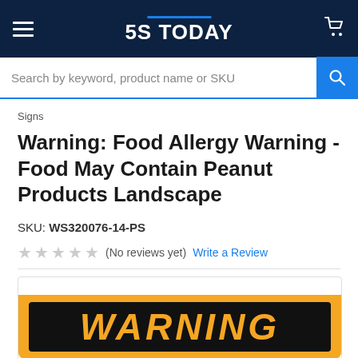5S TODAY
Search by keyword, product name or SKU
Signs
Warning: Food Allergy Warning - Food May Contain Peanut Products Landscape
SKU: WS320076-14-PS
(No reviews yet) Write a Review
[Figure (photo): Product image showing a warning sign with orange background and black panel displaying the word WARNING in large orange italic letters]